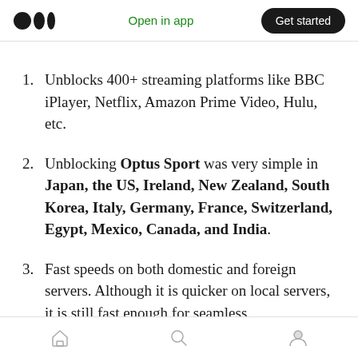Medium app header — Open in app | Get started
Unblocks 400+ streaming platforms like BBC iPlayer, Netflix, Amazon Prime Video, Hulu, etc.
Unblocking Optus Sport was very simple in Japan, the US, Ireland, New Zealand, South Korea, Italy, Germany, France, Switzerland, Egypt, Mexico, Canada, and India.
Fast speeds on both domestic and foreign servers. Although it is quicker on local servers, it is still fast enough for seamless
Bottom navigation bar — Home | Search | Profile